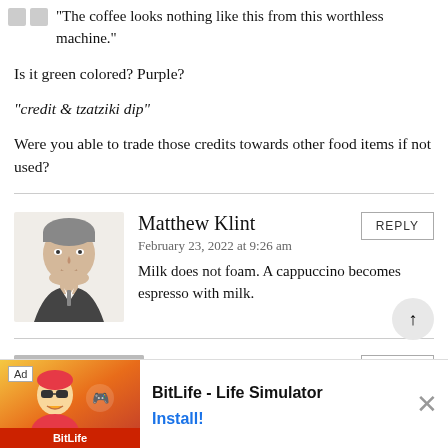“The coffee looks nothing like this from this worthless machine.”
Is it green colored? Purple?
“credit & tzatziki dip”
Were you able to trade those credits towards other food items if not used?
Matthew Klint
February 23, 2022 at 9:26 am
Milk does not foam. A cappuccino becomes espresso with milk.
MG
February 23, 2022 at 10:46 am
You didn’t mention that alcoholic drinks are not
[Figure (screenshot): BitLife - Life Simulator advertisement banner with Ad label, cartoon mascot image on orange/red background, app title, and Install button]
[Figure (illustration): Pencil sketch portrait of Matthew Klint, a man in a suit]
[Figure (illustration): Generic grey avatar silhouette for MG user]